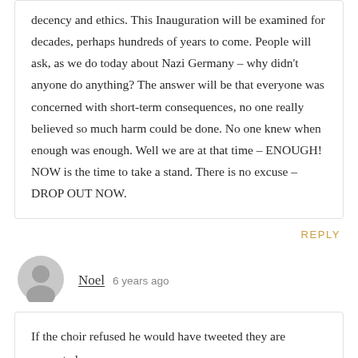decency and ethics. This Inauguration will be examined for decades, perhaps hundreds of years to come. People will ask, as we do today about Nazi Germany – why didn't anyone do anything? The answer will be that everyone was concerned with short-term consequences, no one really believed so much harm could be done. No one knew when enough was enough. Well we are at that time – ENOUGH! NOW is the time to take a stand. There is no excuse – DROP OUT NOW.
REPLY
[Figure (illustration): Generic user avatar icon, gray circle with person silhouette]
Noel  6 years ago
If the choir refused he would have tweeted they are overrated.